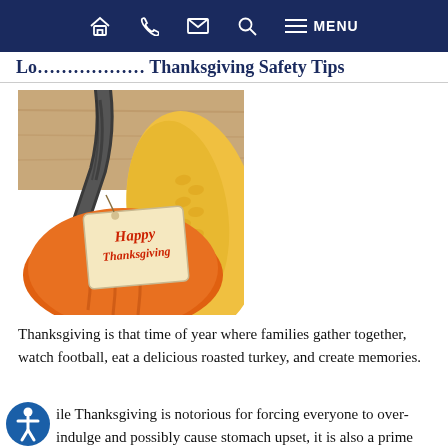Navigation bar with home, phone, email, search, and MENU icons
Thanksgiving Safety Tips from...
[Figure (photo): Close-up photo of a pumpkin with a tag reading 'Happy Thanksgiving' in red script, with corn visible in the background against a wooden surface.]
Thanksgiving is that time of year where families gather together, watch football, eat a delicious roasted turkey, and create memories.
While Thanksgiving is notorious for forcing everyone to over-indulge and possibly cause stomach upset, it is also a prime time of the year for local emergency rooms. Specific types of hazards can cause significant life-changing or even life-threatening injuries if you are not careful.